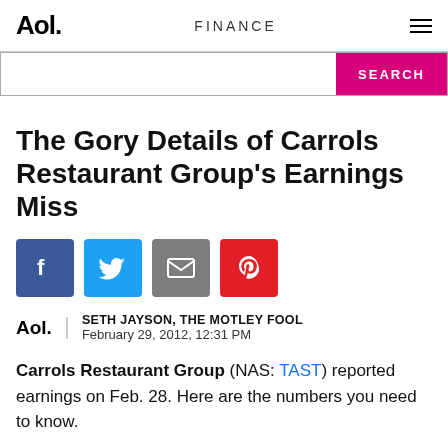Aol. | FINANCE
The Gory Details of Carrols Restaurant Group's Earnings Miss
[Figure (infographic): Social sharing icons: Facebook (blue), Twitter (light blue), Email (grey), Pinterest (red)]
SETH JAYSON, THE MOTLEY FOOL
February 29, 2012, 12:31 PM
Carrols Restaurant Group (NAS: TAST) reported earnings on Feb. 28. Here are the numbers you need to know.